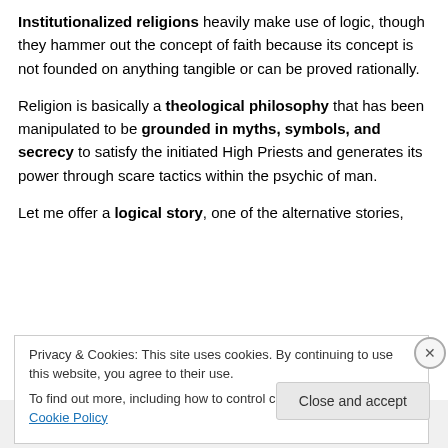Institutionalized religions heavily make use of logic, though they hammer out the concept of faith because its concept is not founded on anything tangible or can be proved rationally.
Religion is basically a theological philosophy that has been manipulated to be grounded in myths, symbols, and secrecy to satisfy the initiated High Priests and generates its power through scare tactics within the psychic of man.
Let me offer a logical story, one of the alternative stories,
Privacy & Cookies: This site uses cookies. By continuing to use this website, you agree to their use.
To find out more, including how to control cookies, see here: Cookie Policy